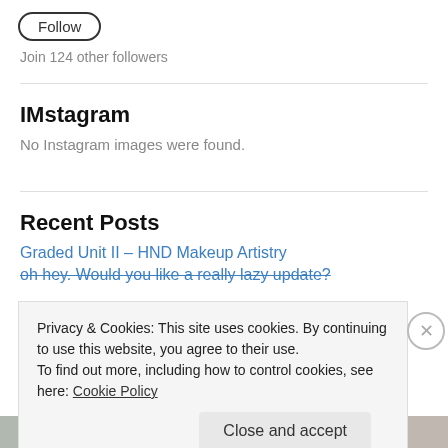[Figure (other): Follow button, rounded rectangle with 'Follow' text]
Join 124 other followers
IMstagram
No Instagram images were found.
Recent Posts
Graded Unit II – HND Makeup Artistry
oh hey. Would you like a really lazy update?
Privacy & Cookies: This site uses cookies. By continuing to use this website, you agree to their use.
To find out more, including how to control cookies, see here: Cookie Policy
Close and accept